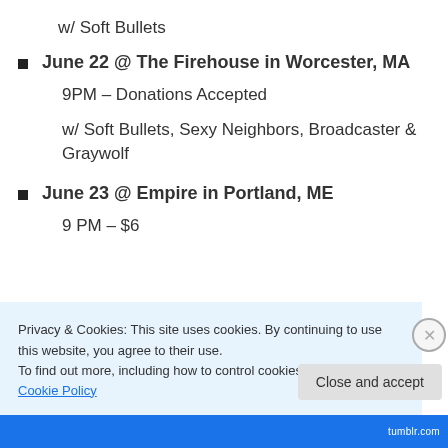w/ Soft Bullets
June 22 @ The Firehouse in Worcester, MA
9PM – Donations Accepted
w/ Soft Bullets, Sexy Neighbors, Broadcaster & Graywolf
June 23 @ Empire in Portland, ME
9 PM – $6
Privacy & Cookies: This site uses cookies. By continuing to use this website, you agree to their use.
To find out more, including how to control cookies, see here: Cookie Policy
Close and accept